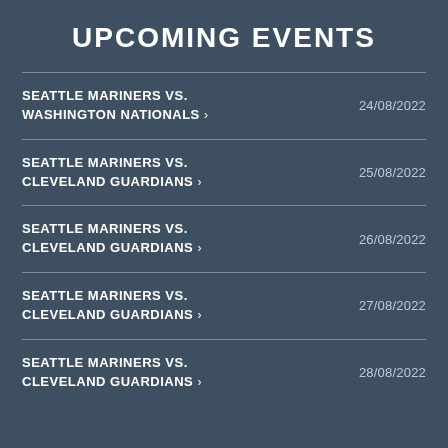UPCOMING EVENTS
SEATTLE MARINERS VS. WASHINGTON NATIONALS > | 24/08/2022
SEATTLE MARINERS VS. CLEVELAND GUARDIANS > | 25/08/2022
SEATTLE MARINERS VS. CLEVELAND GUARDIANS > | 26/08/2022
SEATTLE MARINERS VS. CLEVELAND GUARDIANS > | 27/08/2022
SEATTLE MARINERS VS. CLEVELAND GUARDIANS > | 28/08/2022